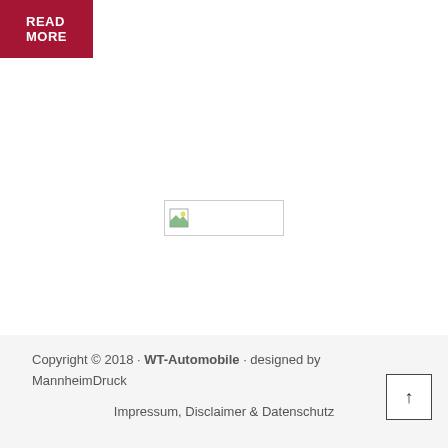[Figure (other): Red button labeled READ MORE]
[Figure (other): Broken/missing image placeholder with small icon]
Copyright © 2018 · WT-Automobile · designed by MannheimDruck
Impressum, Disclaimer & Datenschutz